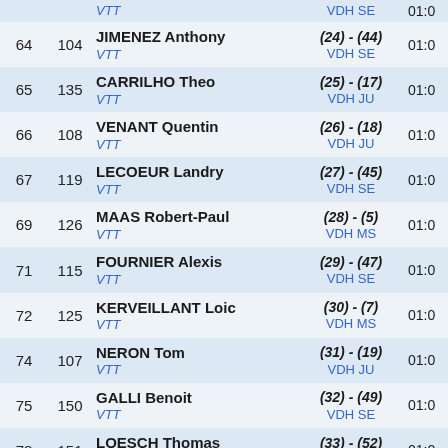| Rank | Num | Name / Category | Score | Time |
| --- | --- | --- | --- | --- |
|  |  | VTT | VDH SE | 01:0… |
| 64 | 104 | JIMENEZ Anthony
VTT | (24) - (44)
VDH SE | 01:0… |
| 65 | 135 | CARRILHO Theo
VTT | (25) - (17)
VDH JU | 01:0… |
| 66 | 108 | VENANT Quentin
VTT | (26) - (18)
VDH JU | 01:0… |
| 67 | 119 | LECOEUR Landry
VTT | (27) - (45)
VDH SE | 01:0… |
| 69 | 126 | MAAS Robert-Paul
VTT | (28) - (5)
VDH MS | 01:0… |
| 71 | 115 | FOURNIER Alexis
VTT | (29) - (47)
VDH SE | 01:0… |
| 72 | 125 | KERVEILLANT Loic
VTT | (30) - (7)
VDH MS | 01:0… |
| 74 | 107 | NERON Tom
VTT | (31) - (19)
VDH JU | 01:0… |
| 75 | 150 | GALLI Benoit
VTT | (32) - (49)
VDH SE | 01:0… |
| 78 | 151 | LOESCH Thomas
VTT | (33) - (52)
VDH SE | 01:0… |
| 80 | 138 | GALLIENNE Even
VTT | (34) - (20)
VDH JU | 01:0… |